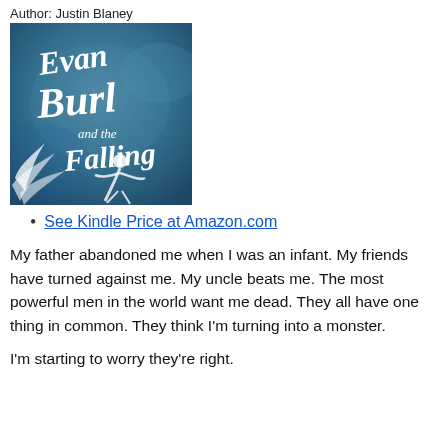Author: Justin Blaney
[Figure (illustration): Book cover for 'Evan Burl and the Falling' — blue/teal illustrated cover with white hand-lettered title text and a figure of a child falling, with wing-like elements]
See Kindle Price at Amazon.com
My father abandoned me when I was an infant. My friends have turned against me. My uncle beats me. The most powerful men in the world want me dead. They all have one thing in common. They think I'm turning into a monster.
I'm starting to worry they're right.